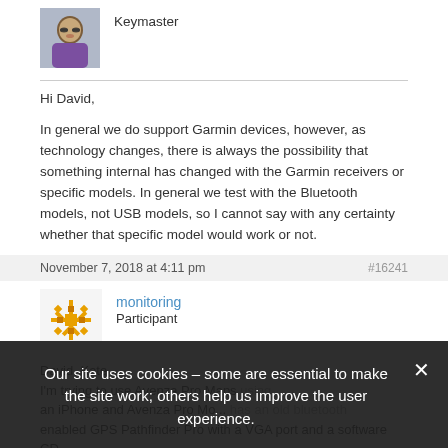[Figure (photo): Avatar photo of a person with glasses wearing purple top]
Keymaster
Hi David,

In general we do support Garmin devices, however, as technology changes, there is always the possibility that something internal has changed with the Garmin receivers or specific models. In general we test with the Bluetooth models, not USB models, so I cannot say with any certainty whether that specific model would work or not.
November 7, 2018 at 4:11 pm
#16241
[Figure (illustration): Avatar icon for user 'monitoring' — decorative yellow/gold snowflake-like symbol]
monitoring
Participant
David, Kate
I'm trying to use Avenza Pro Maps using an iPhone and Avenza Pro Mo... has an old bluetooth enabled GPS Pathfinder Pro with a VGA port and a software CD-
Our site uses cookies – some are essential to make the site work; others help us improve the user experience.